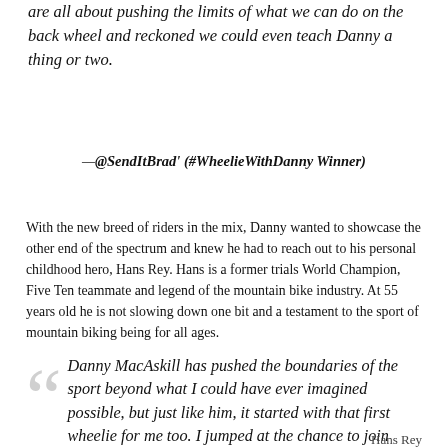are all about pushing the limits of what we can do on the back wheel and reckoned we could even teach Danny a thing or two.
—@SendItBrad' (#WheelieWithDanny Winner)
With the new breed of riders in the mix, Danny wanted to showcase the other end of the spectrum and knew he had to reach out to his personal childhood hero, Hans Rey. Hans is a former trials World Champion, Five Ten teammate and legend of the mountain bike industry. At 55 years old he is not slowing down one bit and a testament to the sport of mountain biking being for all ages.
Danny MacAskill has pushed the boundaries of the sport beyond what I could have ever imagined possible, but just like him, it started with that first wheelie for me too. I jumped at the chance to join Danny and help share our love of some back wheel action.
Hans Rey